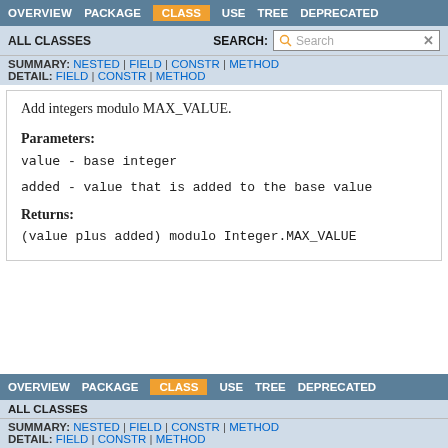OVERVIEW | PACKAGE | CLASS | USE | TREE | DEPRECATED
ALL CLASSES | SEARCH: [Search]
SUMMARY: NESTED | FIELD | CONSTR | METHOD
DETAIL: FIELD | CONSTR | METHOD
Add integers modulo MAX_VALUE.
Parameters:
value - base integer
added - value that is added to the base value
Returns:
(value plus added) modulo Integer.MAX_VALUE
OVERVIEW | PACKAGE | CLASS | USE | TREE | DEPRECATED
ALL CLASSES
SUMMARY: NESTED | FIELD | CONSTR | METHOD
DETAIL: FIELD | CONSTR | METHOD